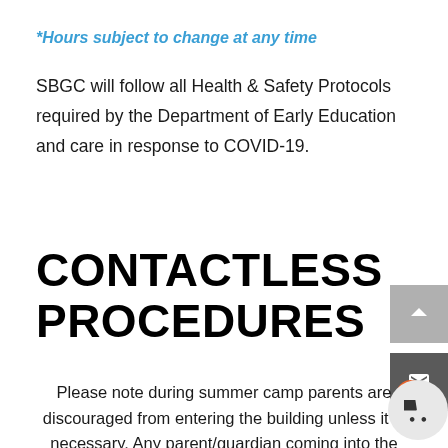*Hours subject to change at any time
SBGC will follow all Health & Safety Protocols required by the Department of Early Education and care in response to COVID-19.
CONTACTLESS PROCEDURES
Please note during summer camp parents are discouraged from entering the building unless it is necessary. Any parent/guardian coming into the building will need to go through the same screening process/safety procedures as staff and youth (temperature check, health assessment